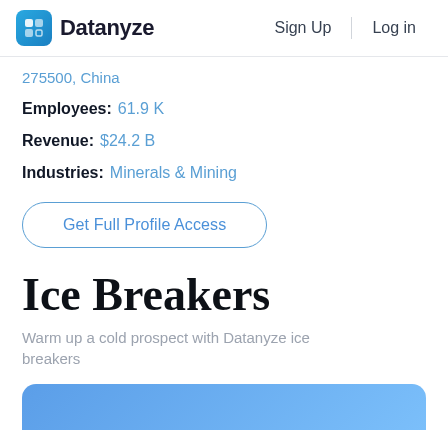Datanyze | Sign Up | Log in
275500, China
Employees: 61.9 K
Revenue: $24.2 B
Industries: Minerals & Mining
Get Full Profile Access
Ice Breakers
Warm up a cold prospect with Datanyze ice breakers
[Figure (other): Blue gradient card/banner partially visible at bottom of page]